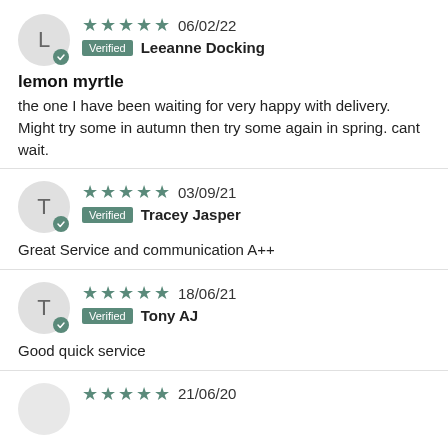★★★★★ 06/02/22 Verified Leeanne Docking
lemon myrtle
the one I have been waiting for very happy with delivery. Might try some in autumn then try some again in spring. cant wait.
★★★★★ 03/09/21 Verified Tracey Jasper
Great Service and communication A++
★★★★★ 18/06/21 Verified Tony AJ
Good quick service
★★★★★ 21/06/20